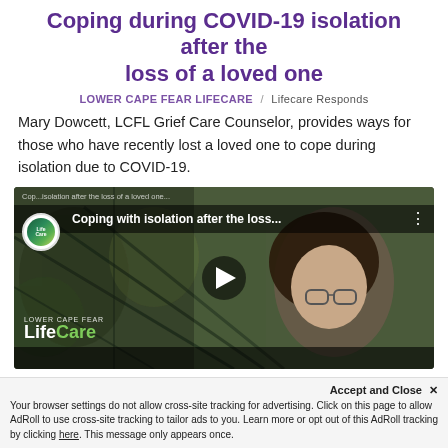Coping during COVID-19 isolation after the loss of a loved one
LOWER CAPE FEAR LIFECARE / Lifecare Responds
Mary Dowcett, LCFL Grief Care Counselor, provides ways for those who have recently lost a loved one to cope during isolation due to COVID-19.
[Figure (screenshot): YouTube video thumbnail showing a woman with dark curly hair and glasses, outdoors with foliage background. Video title reads 'Coping with isolation after the loss...' with Lower Cape Fear LifeCare logo and play button.]
Accept and Close ✕
Your browser settings do not allow cross-site tracking for advertising. Click on this page to allow AdRoll to use cross-site tracking to tailor ads to you. Learn more or opt out of this AdRoll tracking by clicking here. This message only appears once.